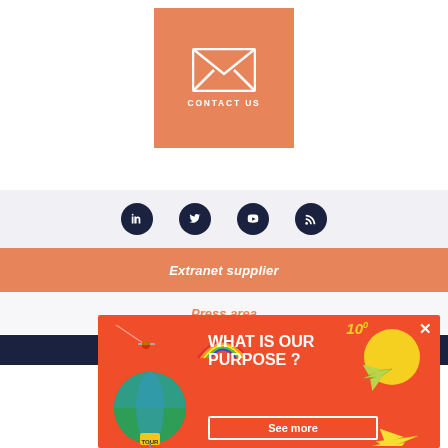[Figure (illustration): Orange square with white envelope icon and CONTACT US text below]
[Figure (illustration): Social media icons row: LinkedIn, Twitter, YouTube, RSS on light gray background]
Extranet supplier
Press area
[Figure (illustration): Promotional popup banner on orange/red background: 'WHAT IS OUR PURPOSE?' with globe illustration, airplane, yellow circle, '100' in yellow, and 'See more' button. X close button in top right.]